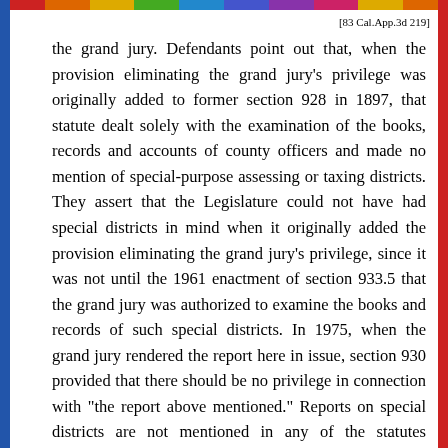[83 Cal.App.3d 219]
the grand jury. Defendants point out that, when the provision eliminating the grand jury's privilege was originally added to former section 928 in 1897, that statute dealt solely with the examination of the books, records and accounts of county officers and made no mention of special-purpose assessing or taxing districts. They assert that the Legislature could not have had special districts in mind when it originally added the provision eliminating the grand jury's privilege, since it was not until the 1961 enactment of section 933.5 that the grand jury was authorized to examine the books and records of such special districts. In 1975, when the grand jury rendered the report here in issue, section 930 provided that there should be no privilege in connection with "the report above mentioned." Reports on special districts are not mentioned in any of the statutes preceding section 930, but only